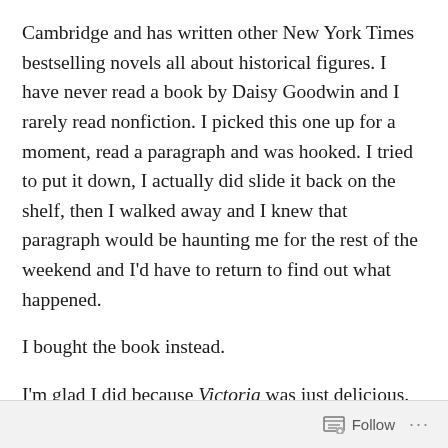Cambridge and has written other New York Times bestselling novels all about historical figures. I have never read a book by Daisy Goodwin and I rarely read nonfiction. I picked this one up for a moment, read a paragraph and was hooked. I tried to put it down, I actually did slide it back on the shelf, then I walked away and I knew that paragraph would be haunting me for the rest of the weekend and I'd have to return to find out what happened.
I bought the book instead.
I'm glad I did because Victoria was just delicious. I've gone and done a bit of searching since just to see if it was accurate and the truth is Daisy Goodwin got all the facts
Follow ···